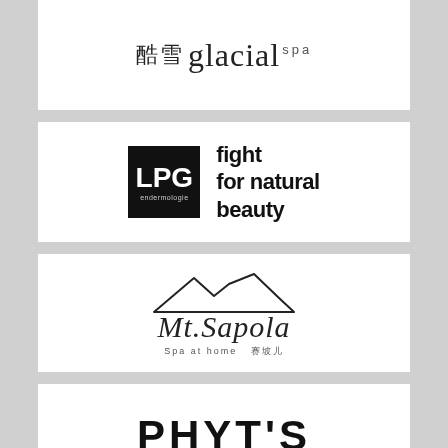[Figure (logo): Glacial Spa logo with Chinese characters and italic serif text reading 'glacial spa']
[Figure (logo): LPG endermologie logo: black square with LPG letters and tagline 'fight for natural beauty']
[Figure (logo): Mt. Sapola Spa at Home logo with mountain silhouette and italic script lettering]
[Figure (logo): PHYT'S Naturo-Esthetique logo with large bold letters and subtitle]